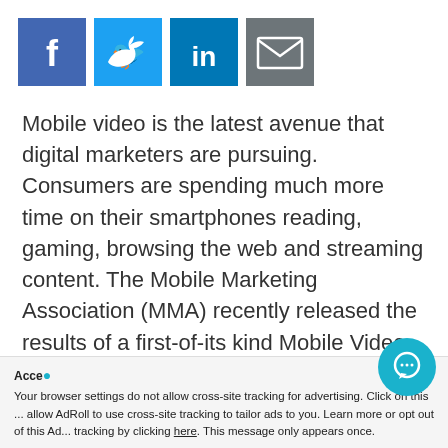[Figure (infographic): Social media share icons: Facebook (blue), Twitter (light blue), LinkedIn (dark blue), Email (gray)]
Mobile video is the latest avenue that digital marketers are pursuing. Consumers are spending much more time on their smartphones reading, gaming, browsing the web and streaming content. The Mobile Marketing Association (MMA) recently released the results of a first-of-its kind Mobile Video Benchmark Study to provide insight to marketers about how consumers are interacting with mobile video.
"This collaboration of MMA members to ...
Accept  ×
Your browser settings do not allow cross-site tracking for advertising. Click on this ... allow AdRoll to use cross-site tracking to tailor ads to you. Learn more or opt out of this Ad... tracking by clicking here. This message only appears once.